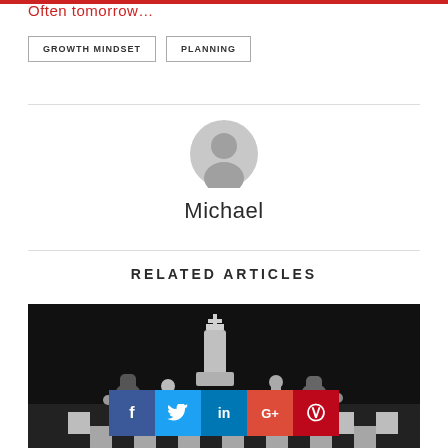Often tomorrow…
GROWTH MINDSET   PLANNING
[Figure (illustration): Gray circular avatar/profile placeholder icon with person silhouette, followed by author name 'Michael' below]
RELATED ARTICLES
[Figure (photo): Black and white photo of chess pieces on a chessboard with a king piece prominently in the center, with social sharing buttons (Facebook, Twitter, LinkedIn, Google+, Pinterest) overlaid at the bottom]